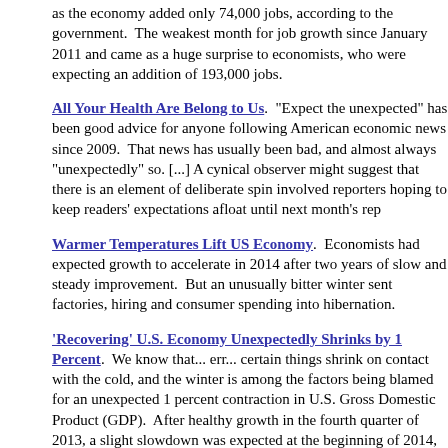as the economy added only 74,000 jobs, according to the government. The weakest month for job growth since January 2011 and came as a huge surprise to economists, who were expecting an addition of 193,000 jobs.
All Your Health Are Belong to Us. "Expect the unexpected" has been good advice for anyone following American economic news since 2009. That news has usually been bad, and almost always "unexpectedly" so. [...] A cynical observer might suggest that there is an element of deliberate spin involved reporters hoping to keep readers' expectations afloat until next month's rep
Warmer Temperatures Lift US Economy. Economists had expected growth to accelerate in 2014 after two years of slow and steady improvement. But an unusually bitter winter sent factories, hiring and consumer spending into hibernation.
'Recovering' U.S. Economy Unexpectedly Shrinks by 1 Percent. We know that... err... certain things shrink on contact with the cold, and the winter is among the factors being blamed for an unexpected 1 percent contraction in U.S. Gross Domestic Product (GDP). After healthy growth in the fourth quarter of 2013, a slight slowdown was expected at the beginning of 2014, but the downturn caught economists by surprise. The last economic contraction was during the first quarter of 2011.
More Americans than forecast file jobless claims. The number of Americans filing for unemployment benefits unexpectedly rose last week to a two-month high, interrupting a steady decrease to the lowest level since before the last recession. Jobless claims climbed by 11,000 to 315,000 in the week ended Sept. 6, which included the Labor Day holiday, a Labor Department report showed Thursday [9/11/2014]. It was the highest reading since June 28 and exceeded the Bloomberg survey median forecast of 300,000. The data are difficult to adjust during holiday periods a Labor Department analyst somewhat